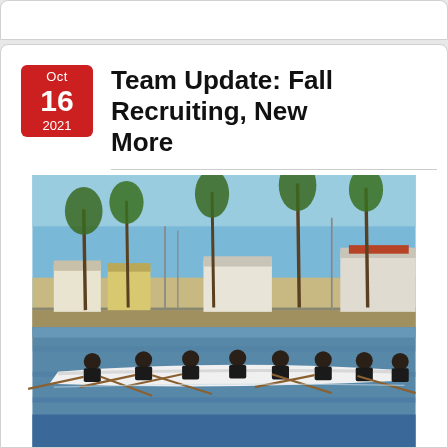Team Update: Fall Recruiting, New... More
Newsletters
[Figure (photo): Rowing team in a racing shell on the water, with palm trees, buildings, and a coastal landscape in the background. Multiple rowers in dark clothing seated in a long white boat on a calm blue waterway.]